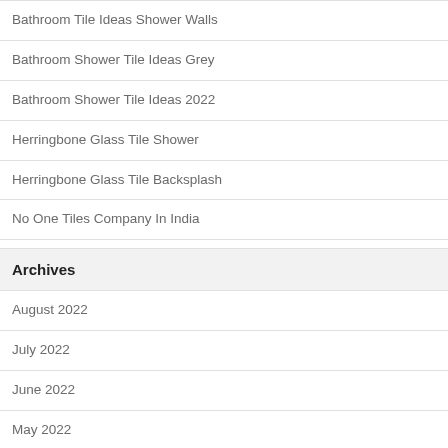Bathroom Tile Ideas Shower Walls
Bathroom Shower Tile Ideas Grey
Bathroom Shower Tile Ideas 2022
Herringbone Glass Tile Shower
Herringbone Glass Tile Backsplash
No One Tiles Company In India
Archives
August 2022
July 2022
June 2022
May 2022
April 2022
March 2022